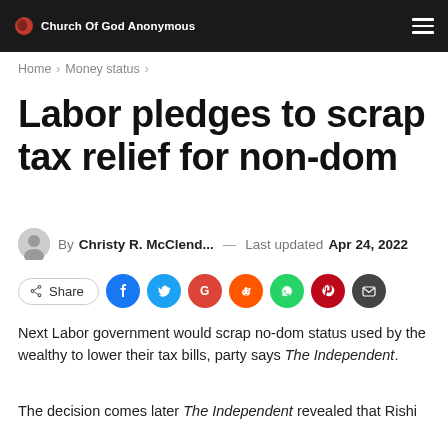Church Of God Anonymous
Home > Money status >
Labor pledges to scrap tax relief for non-dom
By Christy R. McClend... — Last updated Apr 24, 2022
Share (social icons: Facebook, Twitter, Google+, Reddit, WhatsApp, Pinterest, Email)
Next Labor government would scrap no-dom status used by the wealthy to lower their tax bills, party says The Independent.
The decision comes later The Independent revealed that Rishi